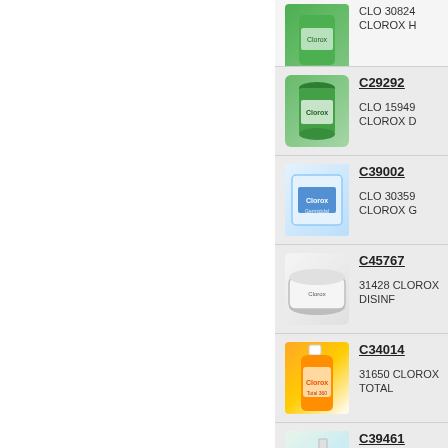[Figure (photo): Partial product row at top - Clorox canister, partially visible]
CLO 30824 CLOROX H
C29292
[Figure (photo): Green Clorox disinfecting wipes canister]
CLO 15949 CLOROX D
C39002
[Figure (photo): Clorox germicidal wipes flat pack/bag]
CLO 30359 CLOROX G
C45767
[Figure (photo): Clorox disinfecting wipes tub/flat container]
31428 CLOROX DISINF
C34014
[Figure (photo): Clorox Total 360 orange cleaning bottle/jug]
31650 CLOROX TOTAL
C39461
[Figure (photo): Clorox germicidal spray bottle]
68970 CLOROX GERM
C14254
[Figure (photo): Dark green Clorox product, partially visible at bottom]